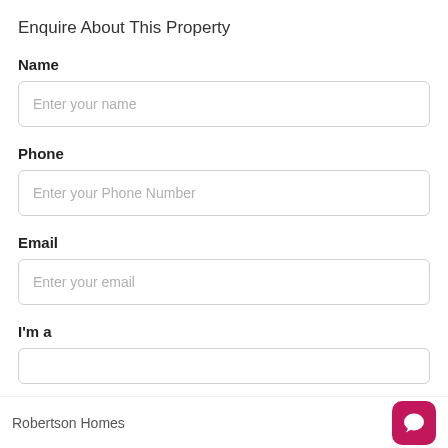Enquire About This Property
Name
Enter your name
Phone
Enter your Phone Number
Email
Enter your email
I'm a
Robertson Homes